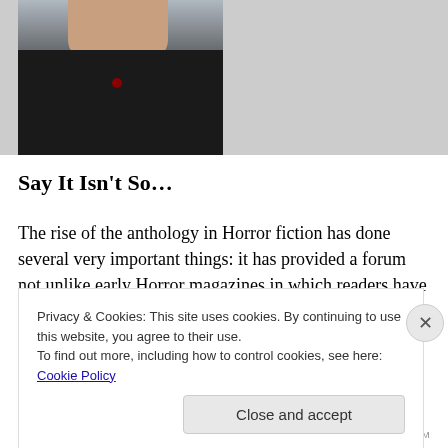[Figure (photo): Portrait photo of a woman wearing a black top with a red pendant necklace, cropped at shoulder level]
Say It Isn't So…
The rise of the anthology in Horror fiction has done several very important things: it has provided a forum not unlike early Horror magazines in which readers have a chance to “discover” writers they could not find anywhere else, to “discover” new writers in the genre, and to get a feel for what Horror writers are writing about. But they also have
Privacy & Cookies: This site uses cookies. By continuing to use this website, you agree to their use.
To find out more, including how to control cookies, see here: Cookie Policy
Close and accept